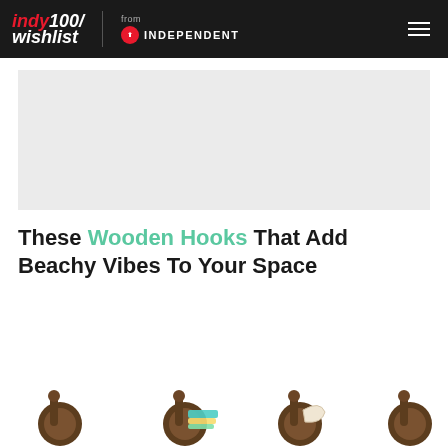indy100/wishlist from INDEPENDENT
[Figure (other): Gray advertisement placeholder rectangle]
These Wooden Hooks That Add Beachy Vibes To Your Space
[Figure (photo): Row of wooden wall hooks, some holding colorful items, photographed on white background. Hooks are mushroom-shaped wood pieces in walnut finish.]